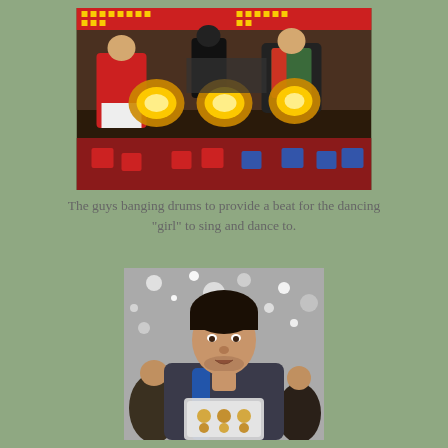[Figure (photo): Several men in a red-decorated tent setting banging large illuminated drums. One man wears a red traditional outfit on the left, another in dark clothing is in the background, and another in a multicolored jacket is on the right. Red and blue plastic stools are visible in the foreground. Red banners with Chinese characters are visible in the background.]
The guys banging drums to provide a beat for the dancing "girl" to sing and dance to.
[Figure (photo): A young Western tourist with dark hair looking up, holding a clear plastic container of food. He is surrounded by Chinese onlookers. The background is a shiny silver/metallic canopy or tarpaulin.]